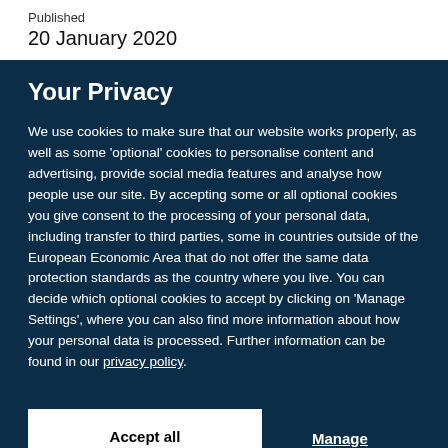Published
20 January 2020
Your Privacy
We use cookies to make sure that our website works properly, as well as some 'optional' cookies to personalise content and advertising, provide social media features and analyse how people use our site. By accepting some or all optional cookies you give consent to the processing of your personal data, including transfer to third parties, some in countries outside of the European Economic Area that do not offer the same data protection standards as the country where you live. You can decide which optional cookies to accept by clicking on 'Manage Settings', where you can also find more information about how your personal data is processed. Further information can be found in our privacy policy.
Accept all cookies
Manage preferences